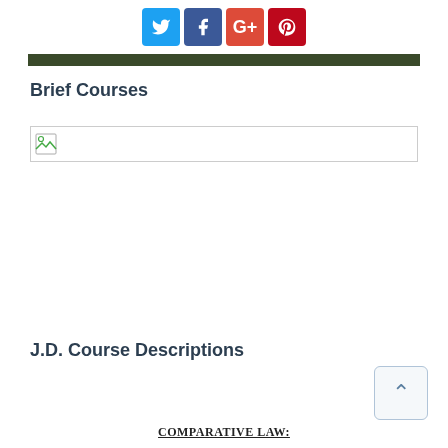[Figure (other): Social media sharing icons: Twitter (blue), Facebook (dark blue), Google+ (red), Pinterest (dark red)]
[Figure (other): Dark olive/green horizontal banner bar]
Brief Courses
[Figure (other): Broken image placeholder with small icon, bordered rectangle]
J.D. Course Descriptions
COMPARATIVE LAW:
[Figure (other): Back to top button with upward caret arrow]